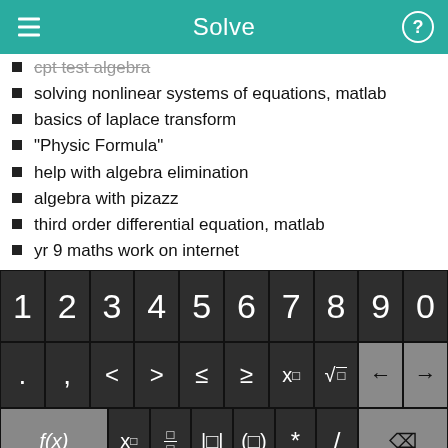Solve
cpt test algebra
solving nonlinear systems of equations, matlab
basics of laplace transform
"Physic Formula"
help with algebra elimination
algebra with pizazz
third order differential equation, matlab
yr 9 maths work on internet
physics james s. walker 2nd problem solutions
11+ exam paper free downloads
free worksheet hundredths percentages
passing college algebra
[Figure (screenshot): On-screen math keyboard with digits 0-9, symbols (<, >, ≤, ≥, x^□, √), function keys f(x), x□, fraction, absolute value, parentheses, *, /, delete, abc, rotation, x, y, =, +, -, and Solve! button]